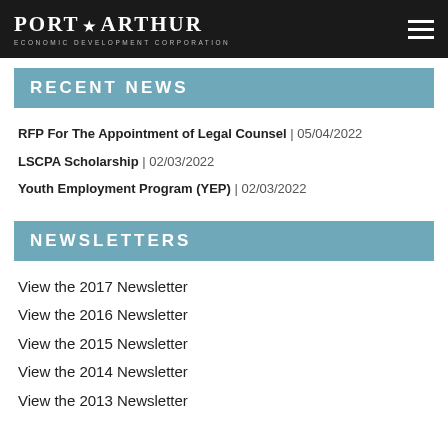PORT ARTHUR ECONOMIC DEVELOPMENT CORPORATION
RECENT NEWS
RFP For The Appointment of Legal Counsel | 05/04/2022
LSCPA Scholarship | 02/03/2022
Youth Employment Program (YEP) | 02/03/2022
NEWSLETTERS
View the 2017 Newsletter
View the 2016 Newsletter
View the 2015 Newsletter
View the 2014 Newsletter
View the 2013 Newsletter